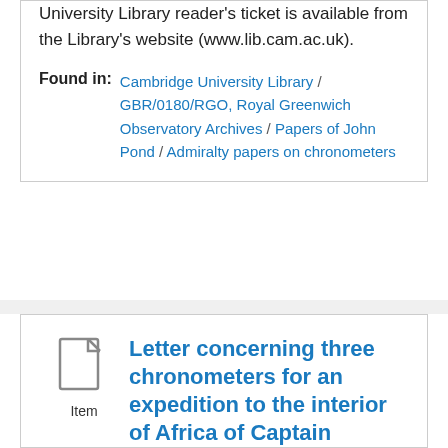University Library reader's ticket is available from the Library's website (www.lib.cam.ac.uk).
Found in: Cambridge University Library / GBR/0180/RGO, Royal Greenwich Observatory Archives / Papers of John Pond / Admiralty papers on chronometers
Letter concerning three chronometers for an expedition to the interior of Africa of Captain Clapperton, Captain Pearce